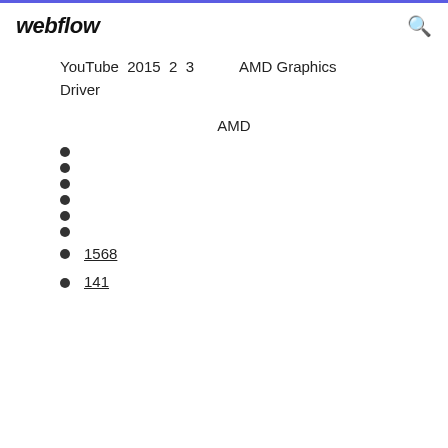webflow
YouTube 2015 2 3    AMD Graphics Driver
AMD
1568
141